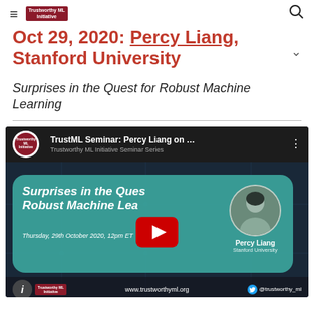≡  Trustworthy ML Initiative  🔍
Oct 29, 2020: Percy Liang, Stanford University
Surprises in the Quest for Robust Machine Learning
[Figure (screenshot): YouTube video thumbnail for TrustML Seminar: Percy Liang on Surprises in the Quest for Robust Machine Learning. Thursday, 29th October 2020, 12pm ET. Trustworthy ML Initiative Seminar Series. Shows Percy Liang's photo, teal card background with circuit pattern, YouTube play button overlay, and bottom bar with www.trustworthyml.org and @trustworthy_ml Twitter handle.]